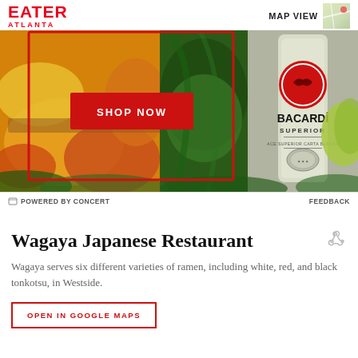EATER ATLANTA
MAP VIEW
[Figure (photo): Advertisement banner with tropical fruits (mangoes, papayas) and a Bacardí Superior rum bottle on a background of green tropical leaves. Includes a red 'SHOP NOW' button.]
POWERED BY CONCERT     FEEDBACK
Wagaya Japanese Restaurant
Wagaya serves six different varieties of ramen, including white, red, and black tonkotsu, in Westside.
OPEN IN GOOGLE MAPS